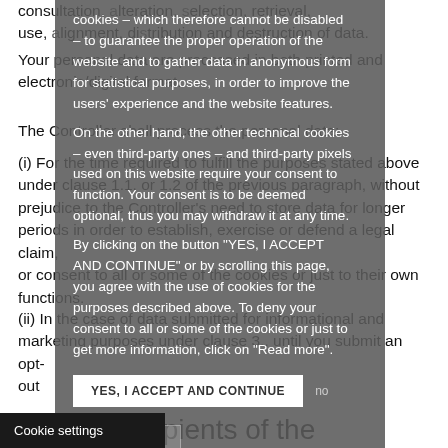consultation, alteration, selection, retrieval, use, alignment, destruction and destruction of data. Your personal data are processed in both printed and electronic/digital format.
The Controller shall process the personal data:
(i) For the time required to fulfill the purposes stated above under clause 1.1. or 1.2 of the previous paragraph, without prejudice to the Controller's need to store data for longer periods in order to establish, exercise or defend a legal claim, or consent to all or some of the cookies or just to their own functions.
(ii) In the case of data submitted for informational and marketing purposes under clause 3., until you submit an opt-out
[Figure (screenshot): Cookie consent overlay panel with grey semi-transparent background containing text about cookies, a 'YES, I ACCEPT AND CONTINUE' button, a 'no' link, and a 'READ MORE' button.]
ories of recipients of the
Cookie settings